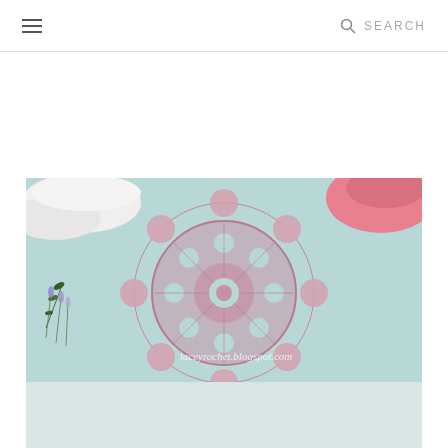☰  SEARCH
[Figure (photo): A pink crochet doily placed on a light blue/teal surface, with white dishes in the upper left and a pink bowl in the upper right. Small sprigs of lavender/rosemary are on the left side. Watermark text reads 'laceyrochet.blogspot.com' in white script at the lower right of the image.]
[Figure (photo): Bottom portion of the same crochet doily image, continuing below the main visible area.]